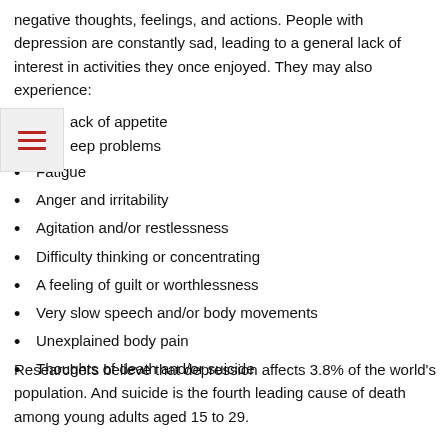negative thoughts, feelings, and actions. People with depression are constantly sad, leading to a general lack of interest in activities they once enjoyed. They may also experience:
ack of appetite
eep problems
Fatigue
Anger and irritability
Agitation and/or restlessness
Difficulty thinking or concentrating
A feeling of guilt or worthlessness
Very slow speech and/or body movements
Unexplained body pain
Thoughts of death and/or suicide
Researchers believe that depression affects 3.8% of the world's population. And suicide is the fourth leading cause of death among young adults aged 15 to 29.